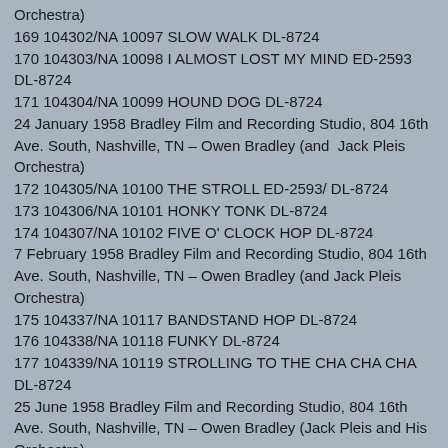Orchestra)
169 104302/NA 10097 SLOW WALK DL-8724
170 104303/NA 10098 I ALMOST LOST MY MIND ED-2593 DL-8724
171 104304/NA 10099 HOUND DOG DL-8724
24 January 1958 Bradley Film and Recording Studio, 804 16th Ave. South, Nashville, TN – Owen Bradley (and  Jack Pleis Orchestra)
172 104305/NA 10100 THE STROLL ED-2593/ DL-8724
173 104306/NA 10101 HONKY TONK DL-8724
174 104307/NA 10102 FIVE O' CLOCK HOP DL-8724
7 February 1958 Bradley Film and Recording Studio, 804 16th Ave. South, Nashville, TN – Owen Bradley (and Jack Pleis Orchestra)
175 104337/NA 10117 BANDSTAND HOP DL-8724
176 104338/NA 10118 FUNKY DL-8724
177 104339/NA 10119 STROLLING TO THE CHA CHA CHA DL-8724
25 June 1958 Bradley Film and Recording Studio, 804 16th Ave. South, Nashville, TN – Owen Bradley (Jack Pleis and His Orchestra)
178 105244/NA 10295 TRUDIE 9-30702